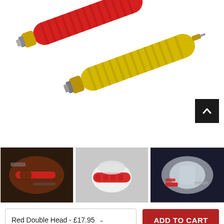[Figure (photo): Two handheld tools with ridged rubber grips — one red and one yellow — with metal connector ends, shown on a white background.]
[Figure (photo): Thumbnail image 1: close-up of red tool being used on a pipe/component.]
[Figure (photo): Thumbnail image 2: red tool being applied to a white fitting.]
[Figure (photo): Thumbnail image 3: red tool attached to a silver metal component.]
Red Double Head - £17.95
ADD TO CART